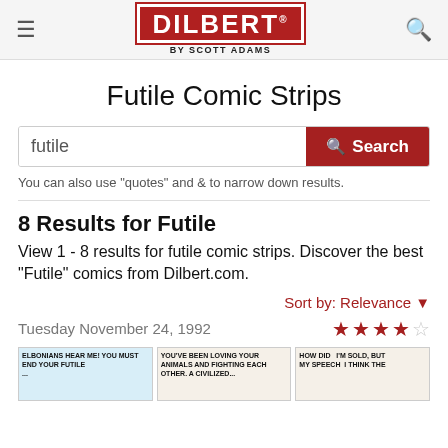DILBERT by SCOTT ADAMS
Futile Comic Strips
futile
You can also use "quotes" and & to narrow down results.
8 Results for Futile
View 1 - 8 results for futile comic strips. Discover the best "Futile" comics from Dilbert.com.
Sort by: Relevance
Tuesday November 24, 1992
[Figure (screenshot): Three Dilbert comic strip thumbnail panels from November 24, 1992 showing partial text about Elbonians, animals, and a speech.]